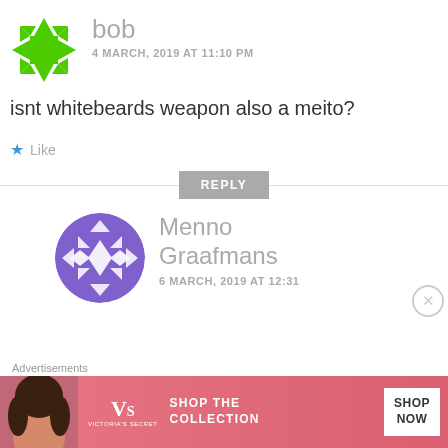[Figure (illustration): Green geometric/mosaic avatar icon for user 'bob']
bob
4 MARCH, 2019 AT 11:10 PM
isnt whitebeards weapon also a meito?
Like
REPLY
[Figure (illustration): Purple geometric/mosaic circular avatar for user 'Menno Graafmans']
Menno Graafmans
6 MARCH, 2019 AT 12:31
[Figure (advertisement): Victoria's Secret advertisement banner: 'SHOP THE COLLECTION' with SHOP NOW button and model photo]